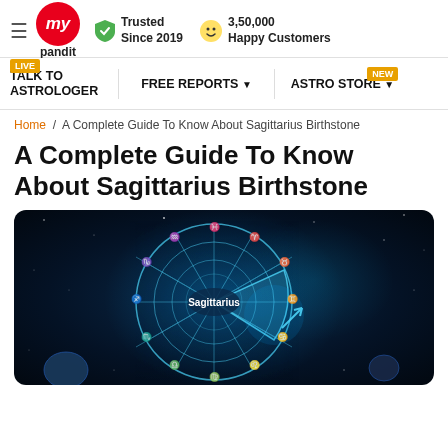my pandit | Trusted Since 2019 | 3,50,000 Happy Customers
TALK TO ASTROLOGER | FREE REPORTS | ASTRO STORE
Home / A Complete Guide To Know About Sagittarius Birthstone
A Complete Guide To Know About Sagittarius Birthstone
[Figure (illustration): Zodiac wheel with all signs highlighted, Sagittarius prominent in center on a dark blue cosmic space background]